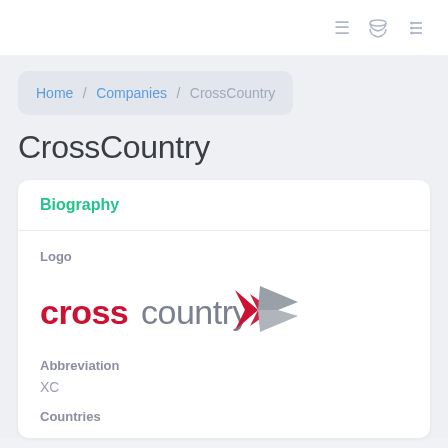≡  🗄  ≡
Home / Companies / CrossCountry
CrossCountry
Biography
Logo
[Figure (logo): CrossCountry train operator logo — 'cross' in red, 'country' in grey, with a stylized red and grey arrow/bird shape to the right]
Abbreviation
XC
Countries